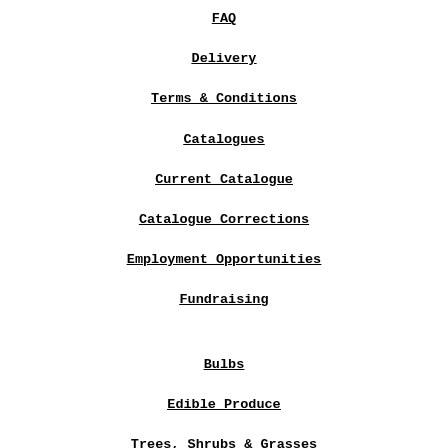FAQ
Delivery
Terms & Conditions
Catalogues
Current Catalogue
Catalogue Corrections
Employment Opportunities
Fundraising
Bulbs
Edible Produce
Trees, Shrubs & Grasses